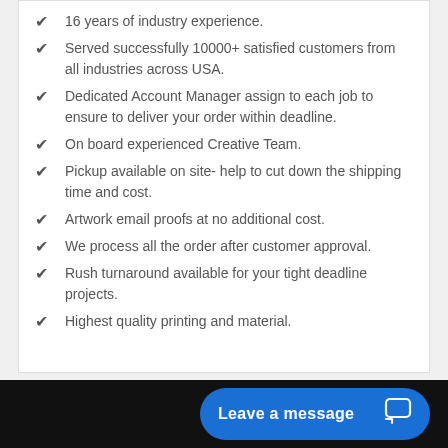16 years of industry experience.
Served successfully 10000+ satisfied customers from all industries across USA.
Dedicated Account Manager assign to each job to ensure to deliver your order within deadline.
On board experienced Creative Team.
Pickup available on site- help to cut down the shipping time and cost.
Artwork email proofs at no additional cost.
We process all the order after customer approval.
Rush turnaround available for your tight deadline projects.
Highest quality printing and material.
Leave a message